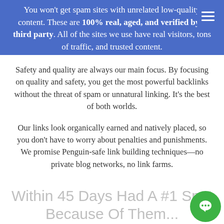You won't get spam sites with unrelated low-quality content. These are 100% real, aged, and verified by a third party. All of the sites we use have real visitors, tons of traffic, and trusted content.
Safety and quality are always our main focus. By focusing on quality and safety, you get the most powerful backlinks without the threat of spam or unnatural linking. It's the best of both worlds.
Our links look organically earned and natively placed, so you don't have to worry about penalties and punishments. We promise Penguin-safe link building techniques—no private blog networks, no link farms.
Within 45 Days Had A #1 Spot Because Of Them...